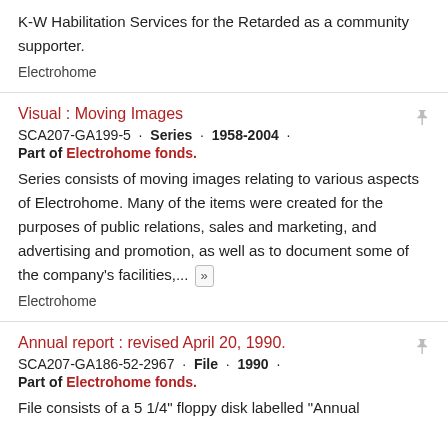K-W Habilitation Services for the Retarded as a community supporter.
Electrohome
Visual : Moving Images
SCA207-GA199-5 · Series · 1958-2004 ·
Part of Electrohome fonds.
Series consists of moving images relating to various aspects of Electrohome. Many of the items were created for the purposes of public relations, sales and marketing, and advertising and promotion, as well as to document some of the company's facilities,... »
Electrohome
Annual report : revised April 20, 1990.
SCA207-GA186-52-2967 · File · 1990 ·
Part of Electrohome fonds.
File consists of a 5 1/4" floppy disk labelled "Annual